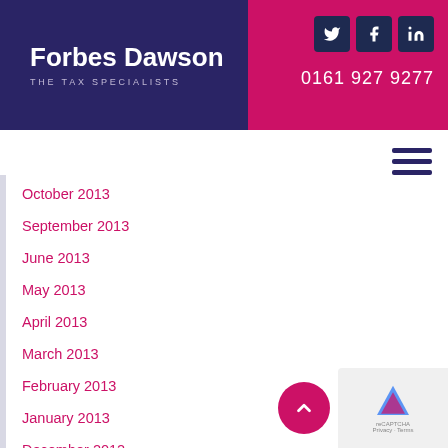[Figure (logo): Forbes Dawson – The Tax Specialists logo with dark navy background, white text]
October 2013
September 2013
June 2013
May 2013
April 2013
March 2013
February 2013
January 2013
December 2012
October 2012
September 2012